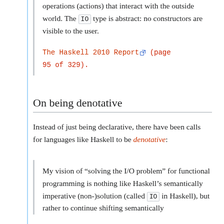operations (actions) that interact with the outside world. The IO type is abstract: no constructors are visible to the user.
The Haskell 2010 Report (page 95 of 329).
On being denotative
Instead of just being declarative, there have been calls for languages like Haskell to be denotative:
My vision of “solving the I/O problem” for functional programming is nothing like Haskell’s semantically imperative (non-)solution (called IO in Haskell), but rather to continue shifting semantically